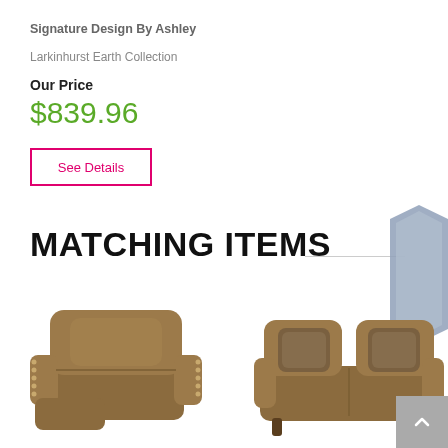Signature Design By Ashley
Larkinhurst Earth Collection
Our Price
$839.96
See Details
MATCHING ITEMS
[Figure (photo): Brown leather recliner chair with rolled arms and nailhead trim]
[Figure (photo): Brown leather loveseat/sofa with decorative throw pillows and rolled arms]
[Figure (other): Sofa Style quiz badge/button on right side]